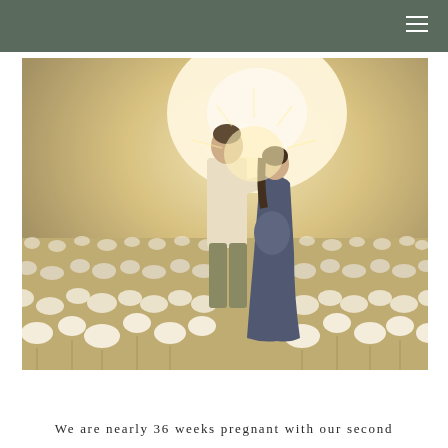[Figure (photo): A couple standing close together facing each other in a cotton field with bright golden backlight at sunset. The man wears a light cream jacket and olive trousers; the woman wears a dark navy floral dress and has her hands on the man's chest. The cotton bolls are in full bloom around them.]
We are nearly 36 weeks pregnant with our second